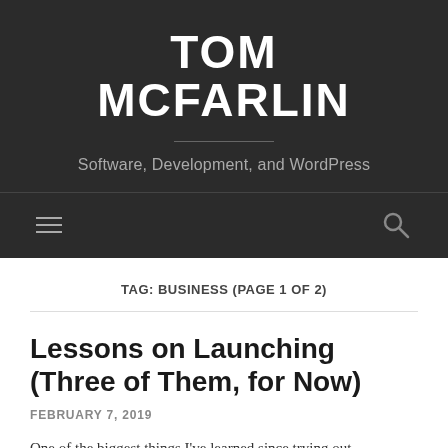TOM MCFARLIN
Software, Development, and WordPress
TAG: BUSINESS (PAGE 1 OF 2)
Lessons on Launching (Three of Them, for Now)
FEBRUARY 7, 2019
One of the biggest things I've learned since trying out